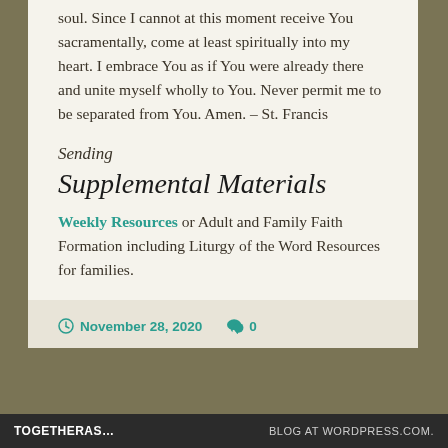soul. Since I cannot at this moment receive You sacramentally, come at least spiritually into my heart. I embrace You as if You were already there and unite myself wholly to You. Never permit me to be separated from You. Amen. – St. Francis
Sending
Supplemental Materials
Weekly Resources or Adult and Family Faith Formation including Liturgy of the Word Resources for families.
November 28, 2020  0
TOGETHERAS... BLOG AT WORDPRESS.COM.